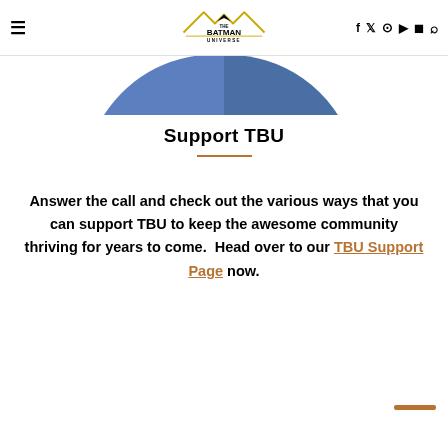The Batman Universe — navigation header with logo and social icons
[Figure (pie-chart): Partial view of a pie chart (blue and black segments) cropped at top of page area]
Support TBU
Answer the call and check out the various ways that you can support TBU to keep the awesome community thriving for years to come.  Head over to our TBU Support Page now.